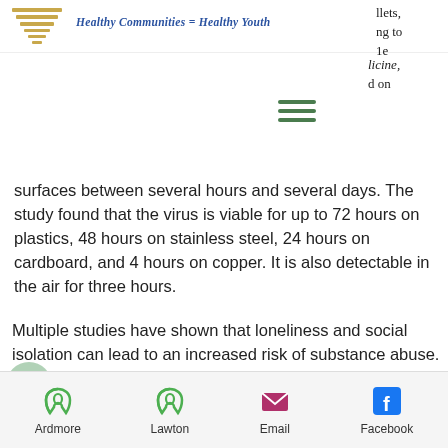Healthy Communities = Healthy Youth
surfaces between several hours and several days. The study found that the virus is viable for up to 72 hours on plastics, 48 hours on stainless steel, 24 hours on cardboard, and 4 hours on copper. It is also detectable in the air for three hours.
Multiple studies have shown that loneliness and social isolation can lead to an increased risk of substance abuse. Click on the following links to learn how to prevent alcohol and drug abuse.
Ardmore  Lawton  Email  Facebook